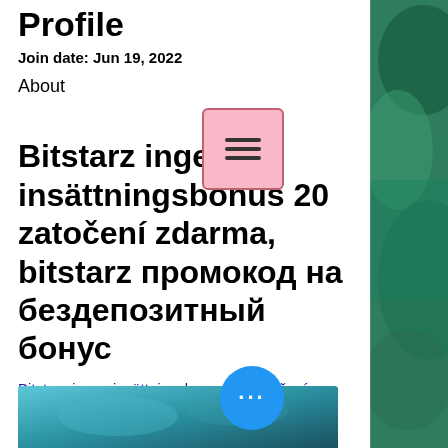Profile
Join date: Jun 19, 2022
About
Bitstarz ingen insättningsbonus 20 zatočení zdarma, bitstarz промокод на бездепозитный бонус
Bitstarz ingen insättningsbonus 20 zatočení zdarma
[Figure (photo): Blurred teal/blue image at bottom of page]
[Figure (other): Aerial coastal/ocean photo on right side panel]